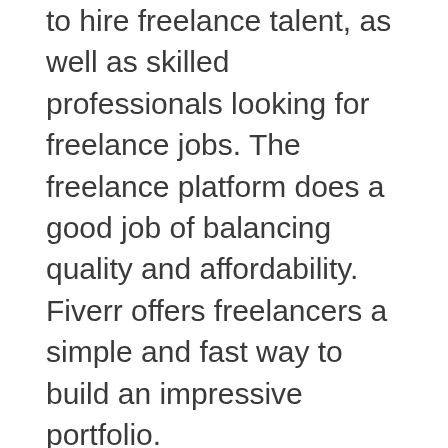to hire freelance talent, as well as skilled professionals looking for freelance jobs. The freelance platform does a good job of balancing quality and affordability. Fiverr offers freelancers a simple and fast way to build an impressive portfolio.
However, there are certain drawbacks with Fiverr. It lacks a comprehensive vetting process, does not allows for contact outside of Fiverr, and charges 20% commission fees for all work. For these reasons, many freelancers turn to Fiverr alternative sites like Upwork and Freelancer.com. They typically offer more security and a better payment